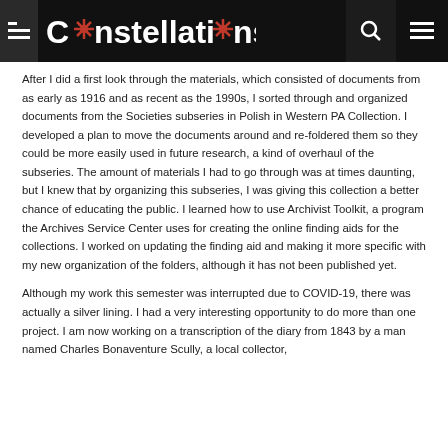Constellations
After I did a first look through the materials, which consisted of documents from as early as 1916 and as recent as the 1990s, I sorted through and organized documents from the Societies subseries in Polish in Western PA Collection. I developed a plan to move the documents around and re-foldered them so they could be more easily used in future research, a kind of overhaul of the subseries. The amount of materials I had to go through was at times daunting, but I knew that by organizing this subseries, I was giving this collection a better chance of educating the public. I learned how to use Archivist Toolkit, a program the Archives Service Center uses for creating the online finding aids for the collections. I worked on updating the finding aid and making it more specific with my new organization of the folders, although it has not been published yet.
Although my work this semester was interrupted due to COVID-19, there was actually a silver lining. I had a very interesting opportunity to do more than one project. I am now working on a transcription of the diary from 1843 by a man named Charles Bonaventure Scully, a local collector,